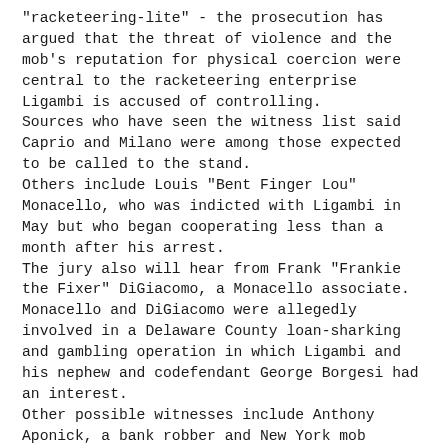"racketeering-lite" - the prosecution has argued that the threat of violence and the mob's reputation for physical coercion were central to the racketeering enterprise Ligambi is accused of controlling. Sources who have seen the witness list said Caprio and Milano were among those expected to be called to the stand. Others include Louis "Bent Finger Lou" Monacello, who was indicted with Ligambi in May but who began cooperating less than a month after his arrest. The jury also will hear from Frank "Frankie the Fixer" DiGiacomo, a Monacello associate. Monacello and DiGiacomo were allegedly involved in a Delaware County loan-sharking and gambling operation in which Ligambi and his nephew and codefendant George Borgesi had an interest. Other possible witnesses include Anthony Aponick, a bank robber and New York mob associate who did time in a West Virginia prison with Borgesi, and